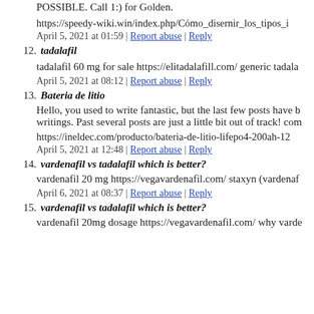POSSIBLE. Call 1:) for Golden.
https://speedy-wiki.win/index.php/Cómo_disernir_los_tipos_i
April 5, 2021 at 01:59 | Report abuse | Reply
12. tadalafil
tadalafil 60 mg for sale https://elitadalafill.com/ generic tadala
April 5, 2021 at 08:12 | Report abuse | Reply
13. Bateria de litio
Hello, you used to write fantastic, but the last few posts have b writings. Past several posts are just a little bit out of track! com
https://ineldec.com/producto/bateria-de-litio-lifepo4-200ah-12
April 5, 2021 at 12:48 | Report abuse | Reply
14. vardenafil vs tadalafil which is better?
vardenafil 20 mg https://vegavardenafil.com/ staxyn (vardenaf
April 6, 2021 at 08:37 | Report abuse | Reply
15. vardenafil vs tadalafil which is better?
vardenafil 20mg dosage https://vegavardenafil.com/ why varde